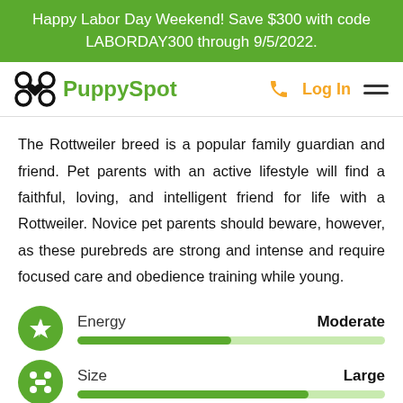Happy Labor Day Weekend! Save $300 with code LABORDAY300 through 9/5/2022.
[Figure (logo): PuppySpot logo with dog icon in green, phone icon in orange, Log In text in orange, and hamburger menu icon]
The Rottweiler breed is a popular family guardian and friend. Pet parents with an active lifestyle will find a faithful, loving, and intelligent friend for life with a Rottweiler. Novice pet parents should beware, however, as these purebreds are strong and intense and require focused care and obedience training while young.
Energy — Moderate (bar indicator, approximately 50% filled)
Size — Large (bar indicator, partially visible)